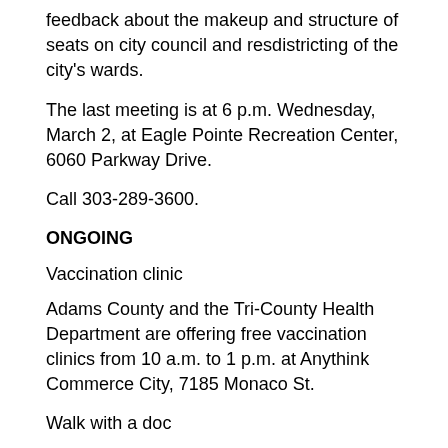feedback about the makeup and structure of seats on city council and resdistricting of the city's wards.
The last meeting is at 6 p.m. Wednesday, March 2, at Eagle Pointe Recreation Center, 6060 Parkway Drive.
Call 303-289-3600.
ONGOING
Vaccination clinic
Adams County and the Tri-County Health Department are offering free vaccination clinics from 10 a.m. to 1 p.m. at Anythink Commerce City, 7185 Monaco St.
Walk with a doc
Platte Valley Medical Center's cardiac rehab team and Walk With A Doc will host monthly walks with Dr. Christopher Cannon, an interventional cardiologist at Brighton Heart and Vascular Institute.
This is a walking program for everyone interested in taking steps for a healthier lifestyle. After a few minutes to learn about a current health topic from the doctor, spend the rest of